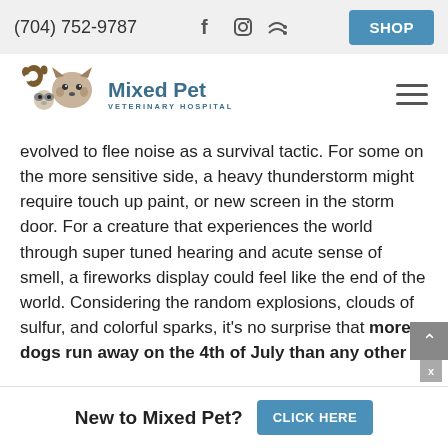(704) 752-9787  f  [Instagram]  [RSS]  SHOP
[Figure (logo): Mixed Pet Veterinary Hospital logo with illustrated animal faces (dog, cat, raccoon) in brown and the text 'Mixed Pet' in blue-gray bold and 'VETERINARY HOSPITAL' in small caps below]
evolved to flee noise as a survival tactic. For some on the more sensitive side, a heavy thunderstorm might require touch up paint, or new screen in the storm door. For a creature that experiences the world through super tuned hearing and acute sense of smell, a fireworks display could feel like the end of the world. Considering the random explosions, clouds of sulfur, and colorful sparks, it's no surprise that more dogs run away on the 4th of July than any other
New to Mixed Pet?  CLICK HERE